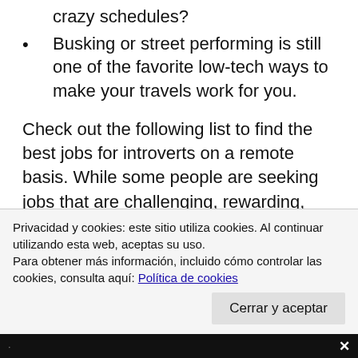crazy schedules?
Busking or street performing is still one of the favorite low-tech ways to make your travels work for you.
Check out the following list to find the best jobs for introverts on a remote basis. While some people are seeking jobs that are challenging, rewarding, and creative, others are looking for the highest paying remote jobs in the world. Software developers create applications and systems for computers and similar devices. These jobs typically require a bachelor's degree in computer science. The median pay for software developers across industries is $110,140 per year, and you can still make that kind of money while working at home with
Privacidad y cookies: este sitio utiliza cookies. Al continuar utilizando esta web, aceptas su uso.
Para obtener más información, incluido cómo controlar las cookies, consulta aquí: Política de cookies
Cerrar y aceptar